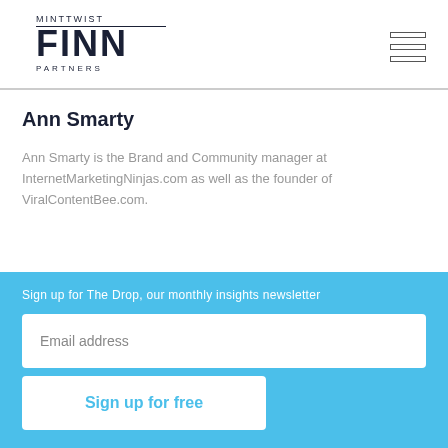[Figure (logo): MintTwist Finn Partners logo with hamburger menu icon]
Ann Smarty
Ann Smarty is the Brand and Community manager at InternetMarketingNinjas.com as well as the founder of ViralContentBee.com.
Sign up for The Drop, our monthly insights newsletter
Email address
Sign up for free